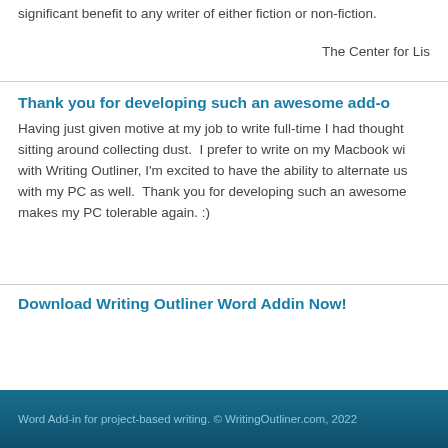significant benefit to any writer of either fiction or non-fiction.
The Center for Lis
Thank you for developing such an awesome add-o
Having just given motive at my job to write full-time I had thought sitting around collecting dust.  I prefer to write on my Macbook wi with Writing Outliner, I'm excited to have the ability to alternate us with my PC as well.  Thank you for developing such an awesome makes my PC tolerable again. :)
Download Writing Outliner Word Addin Now!
Word Add-in for project-based writing. © WritingOutliner.com, 2022